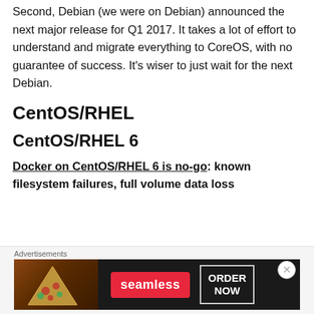Second, Debian (we were on Debian) announced the next major release for Q1 2017. It takes a lot of effort to understand and migrate everything to CoreOS, with no guarantee of success. It's wiser to just wait for the next Debian.
CentOS/RHEL
CentOS/RHEL 6
Docker on CentOS/RHEL 6 is no-go: known filesystem failures, full volume data loss
[Figure (screenshot): Advertisement banner for Seamless food delivery service showing pizza image, Seamless red logo badge, and ORDER NOW button on dark background]